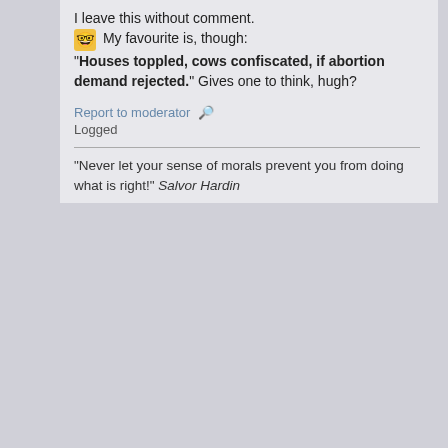I leave this without comment. My favourite is, though: "Houses toppled, cows confiscated, if abortion demand rejected." Gives one to think, hugh?
Report to moderator   Logged
"Never let your sense of morals prevent you from doing what is right!" Salvor Hardin
Feral
Official Flying Monkey Smiter
Administrator
Hero member
★★★★
Offline
Gender: ♂
Posts: 262
Re: How things are made by others
« Reply #13 on: Thu, Jun 21, 2007, 04:42 »
Close enough. What's 543,884 square meters between friends? It's not like anyone has seriously measured the place. I'm fairly